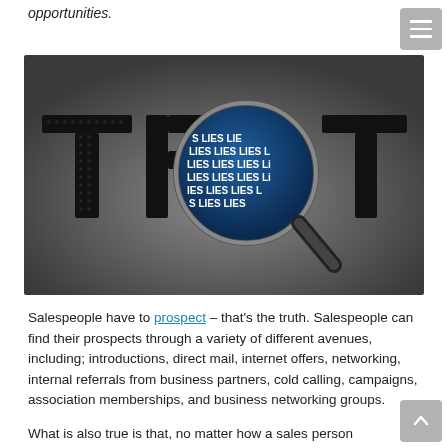opportunities.
[Figure (illustration): A conceptual image showing the word TRUTH made of dark textured letters on a gray background. The letter O is replaced by a magnifying glass lens showing the word LIES repeated in blue and white text, revealing that what appears to be truth is lies.]
Salespeople have to prospect – that's the truth. Salespeople can find their prospects through a variety of different avenues, including; introductions, direct mail, internet offers, networking, internal referrals from business partners, cold calling, campaigns, association memberships, and business networking groups.
What is also true is that, no matter how a sales person